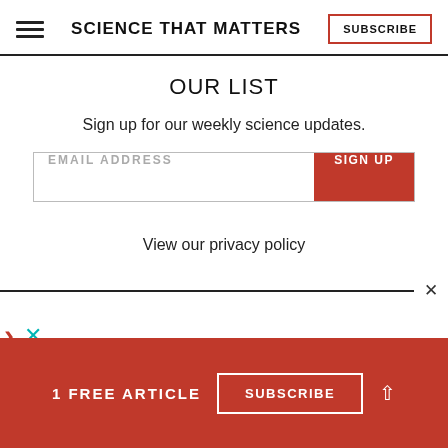SCIENCE THAT MATTERS | SUBSCRIBE
OUR LIST
Sign up for our weekly science updates.
EMAIL ADDRESS | SIGN UP
View our privacy policy
1 FREE ARTICLE | SUBSCRIBE